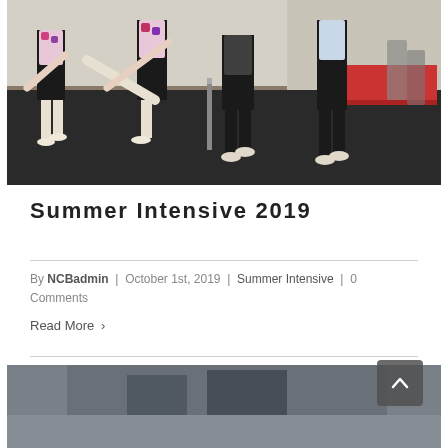[Figure (photo): Ballet dancers at a barre in a dance studio, performing leg stretches and exercises.]
Summer Intensive 2019
By NCBadmin | October 1st, 2019 | Summer Intensive | 0 Comments
Read More ›
[Figure (photo): Partial view of a second article photo, partially visible at the bottom of the page.]